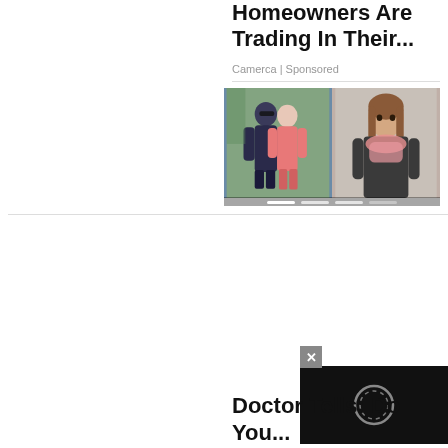Homeowners Are Trading In Their...
Camerca | Sponsored
[Figure (photo): Two-panel image strip: left panel shows a couple (man in dark outfit with sunglasses, woman in pink dress) outdoors; right panel shows a woman with brown hair wearing a pink scarf and dark jacket. Navigation dots bar at bottom of image strip.]
[Figure (screenshot): Video player overlay in bottom right corner with black background and circular loading/play icon. Close button (x) in top left corner of overlay.]
Doctor Tells: Do You...